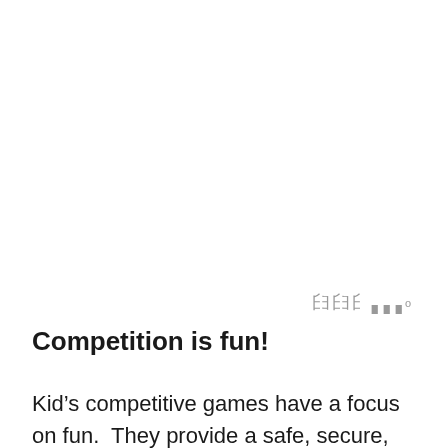[Figure (other): Watermark or logo symbol in gray, appearing as stylized letters or marks in the upper right area of the page]
Competition is fun!
Kid's competitive games have a focus on fun.  They provide a safe, secure, and enjoyable environment for children to